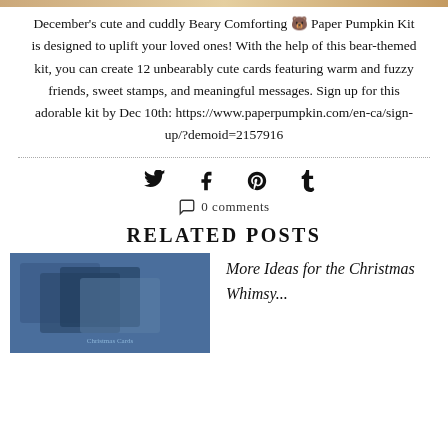December's cute and cuddly Beary Comforting 🐻 Paper Pumpkin Kit is designed to uplift your loved ones! With the help of this bear-themed kit, you can create 12 unbearably cute cards featuring warm and fuzzy friends, sweet stamps, and meaningful messages. Sign up for this adorable kit by Dec 10th: https://www.paperpumpkin.com/en-ca/sign-up/?demoid=2157916
[Figure (other): Social media share icons: Twitter bird, Facebook f, Pinterest p, Tumblr t]
0 comments
RELATED POSTS
[Figure (photo): Photo of Christmas Whimsy cards on blue background]
More Ideas for the Christmas Whimsy...